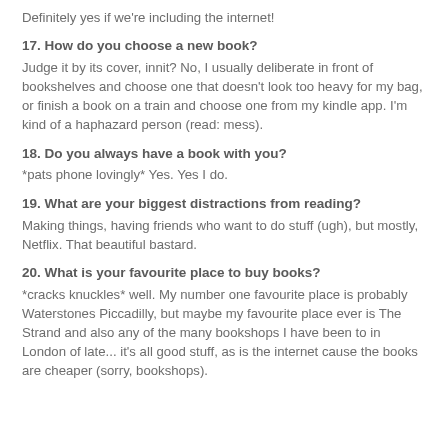Definitely yes if we're including the internet!
17. How do you choose a new book?
Judge it by its cover, innit? No, I usually deliberate in front of bookshelves and choose one that doesn't look too heavy for my bag, or finish a book on a train and choose one from my kindle app. I'm kind of a haphazard person (read: mess).
18. Do you always have a book with you?
*pats phone lovingly* Yes. Yes I do.
19. What are your biggest distractions from reading?
Making things, having friends who want to do stuff (ugh), but mostly, Netflix. That beautiful bastard.
20. What is your favourite place to buy books?
*cracks knuckles* well. My number one favourite place is probably Waterstones Piccadilly, but maybe my favourite place ever is The Strand and also any of the many bookshops I have been to in London of late... it's all good stuff, as is the internet cause the books are cheaper (sorry, bookshops).